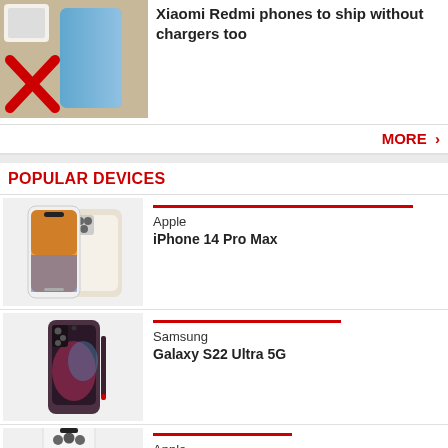[Figure (photo): Article thumbnail showing phones and accessories with a red X mark on the left]
Xiaomi Redmi phones to ship without chargers too
MORE >
POPULAR DEVICES
[Figure (photo): Apple iPhone 14 Pro Max product image showing front and back]
Apple
iPhone 14 Pro Max
[Figure (photo): Samsung Galaxy S22 Ultra 5G product image]
Samsung
Galaxy S22 Ultra 5G
[Figure (photo): Apple device product image (partially visible at bottom)]
Apple